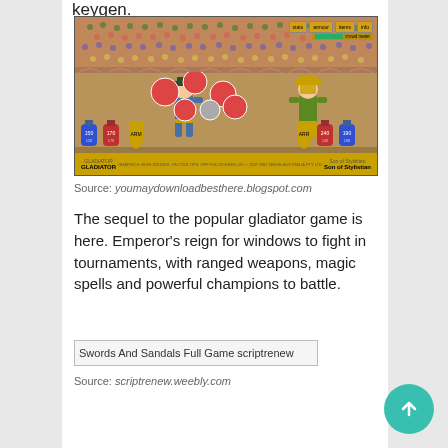keygen.
[Figure (screenshot): Screenshot of the Swords and Sandals gladiator game showing two fighter characters in an arena with crowds, UI buttons (stats, armour, items, info), health/armour bars, and game controls at the bottom.]
Source: youmaydownloadbesthere.blogspot.com
The sequel to the popular gladiator game is here. Emperor's reign for windows to fight in tournaments, with ranged weapons, magic spells and powerful champions to battle.
[Figure (screenshot): Broken image placeholder for Swords And Sandals Full Game scriptrenew]
Source: scriptrenew.weebly.com